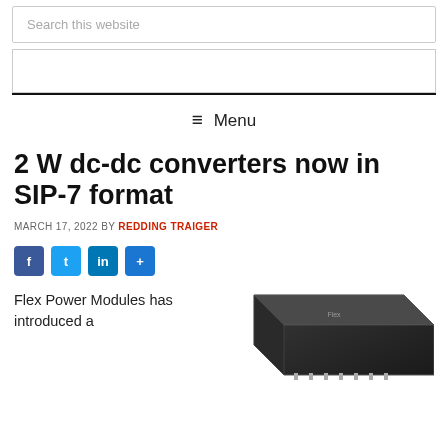Search this website
≡ Menu
2 W dc-dc converters now in SIP-7 format
MARCH 17, 2022 BY REDDING TRAIGER
[Figure (other): Social sharing icons: Facebook, Twitter, LinkedIn, Share]
Flex Power Modules has introduced a
[Figure (photo): Photo of a black dc-dc converter module product]